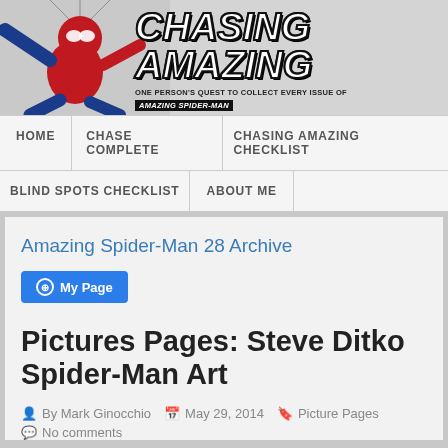[Figure (illustration): Chasing Amazing blog header banner with Spider-Man figure on the left and the blog title 'CHASING AMAZING' in large stylized italic text, with tagline 'ONE PERSON'S QUEST TO COLLECT EVERY ISSUE OF AMAZING SPIDER-MAN']
HOME | CHASE COMPLETE | CHASING AMAZING CHECKLIST | BLIND SPOTS CHECKLIST | ABOUT ME
Amazing Spider-Man 28 Archive
My Page
Pictures Pages: Steve Ditko Spider-Man Art
By Mark Ginocchio   May 29, 2014   Picture Pages   No comments